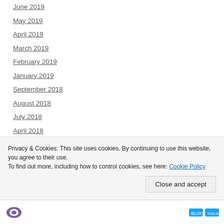June 2019
May 2019
April 2019
March 2019
February 2019
January 2019
September 2018
August 2018
July 2018
April 2018
February 2018
January 2018
December 2017
Privacy & Cookies: This site uses cookies. By continuing to use this website, you agree to their use. To find out more, including how to control cookies, see here: Cookie Policy
Close and accept